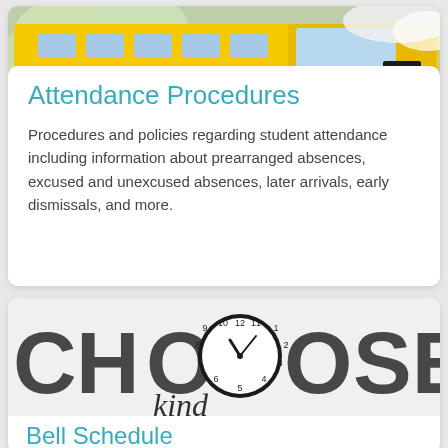[Figure (photo): Yellow school bus (number 85) photographed outdoors with blooming white trees in background]
Attendance Procedures
Procedures and policies regarding student attendance including information about prearranged absences, excused and unexcused absences, later arrivals, early dismissals, and more.
[Figure (photo): Classroom wall with large letters spelling CHOOSE kind with a round analog clock mounted in the center, showing time approximately 10:10]
Bell Schedule